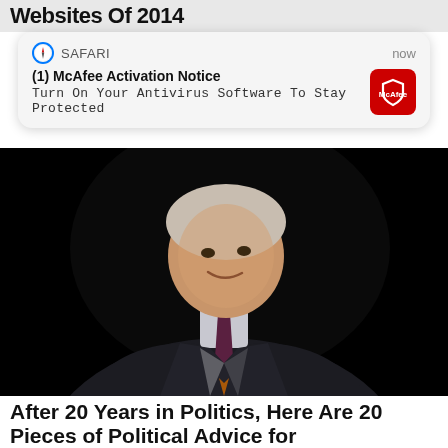Websites Of 2014
[Figure (screenshot): iOS Safari push notification card showing McAfee Activation Notice: Turn On Your Antivirus Software To Stay Protected, with McAfee red icon on right and Safari compass icon on left, timestamped 'now']
[Figure (photo): Photo of a man in a dark suit and tie smiling, against a black background]
After 20 Years in Politics, Here Are 20 Pieces of Political Advice for Conservatives
I have been in politics now since 2001 and I've done a lot in that time. My website Right Wing News was one of the ...